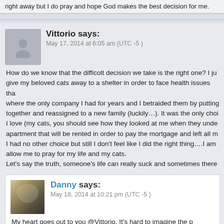right away but I do pray and hope God makes the best decision for me.
Vittorio says:
May 17, 2014 at 6:05 am (UTC -5 )

How do we know that the difficolt decision we take is the right one? I just give my beloved cats away to a shelter in order to face health issues that where the only company I had for years and I betraided them by putting together and reassigned to a new family (luckily…). It was the only choice I love (my cats, you should see how they looked at me when they under apartment that will be rented in order to pay the mortgage and left all my I had no other choice but still I don't feel like I did the right thing….I am allow me to pray for my life and my cats.
Let's say the truth, someone's life can really suck and sometimes there
Danny says:
May 18, 2014 at 10:21 pm (UTC -5 )

My heart goes out to you @Vittorio. It's hard to imagine the p my cats.
I think it really is impossible to know when a decision is "righ that there rarely ever is a single "right" decision. We make d decision changes the trajectory of our life slightly. The only w decision gives us the final result we're looking for is to see in